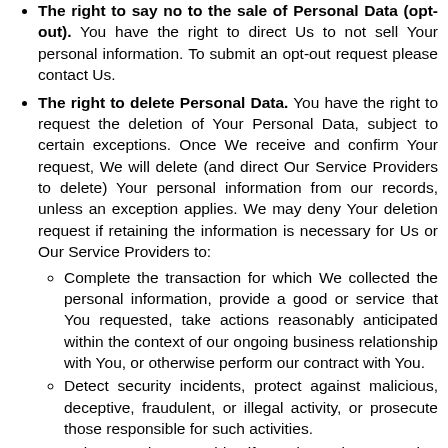The right to say no to the sale of Personal Data (opt-out). You have the right to direct Us to not sell Your personal information. To submit an opt-out request please contact Us.
The right to delete Personal Data. You have the right to request the deletion of Your Personal Data, subject to certain exceptions. Once We receive and confirm Your request, We will delete (and direct Our Service Providers to delete) Your personal information from our records, unless an exception applies. We may deny Your deletion request if retaining the information is necessary for Us or Our Service Providers to:
Complete the transaction for which We collected the personal information, provide a good or service that You requested, take actions reasonably anticipated within the context of our ongoing business relationship with You, or otherwise perform our contract with You.
Detect security incidents, protect against malicious, deceptive, fraudulent, or illegal activity, or prosecute those responsible for such activities.
Debug products to identify and repair errors that impair existing intended functionality.
Exercise free speech, ensure the right of another consumer to exercise their free speech rights, or exercise another right provided for by law.